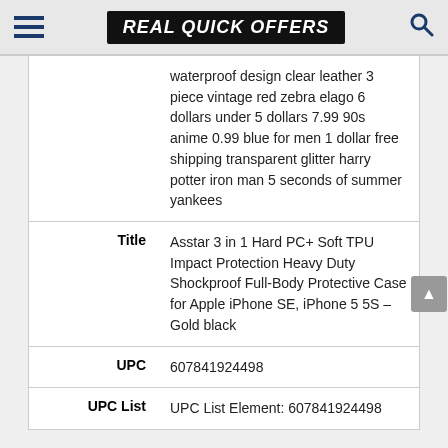REAL QUICK OFFERS
|  | waterproof design clear leather 3 piece vintage red zebra elago 6 dollars under 5 dollars 7.99 90s anime 0.99 blue for men 1 dollar free shipping transparent glitter harry potter iron man 5 seconds of summer yankees |
| Title | Asstar 3 in 1 Hard PC+ Soft TPU Impact Protection Heavy Duty Shockproof Full-Body Protective Case for Apple iPhone SE, iPhone 5 5S – Gold black |
| UPC | 607841924498 |
| UPC List | UPC List Element: 607841924498 |